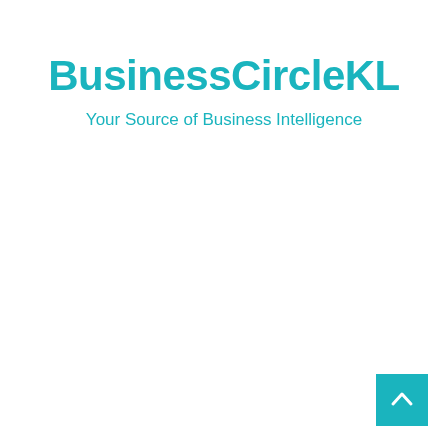BusinessCircleKL
Your Source of Business Intelligence
[Figure (other): Scroll-to-top button: teal square with white upward-pointing chevron arrow in the bottom-right corner of the page]